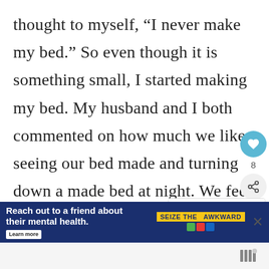thought to myself, “I never make my bed.” So even though it is something small, I started making my bed. My husband and I both commented on how much we like seeing our bed made and turning down a made bed at night. We feel so grown up, we laugh to ourselves. Now, reading yo article, I feel motivated to do everything you are suggesting! On
[Figure (other): Social sidebar with heart/like button showing count of 8 and a share button]
[Figure (other): What's Next widget showing 'The Role of Husband an...' with a thumbnail image]
[Figure (other): Advertisement banner: 'Reach out to a friend about their mental health. Learn more' with SEIZE THE AWKWARD badge and close button]